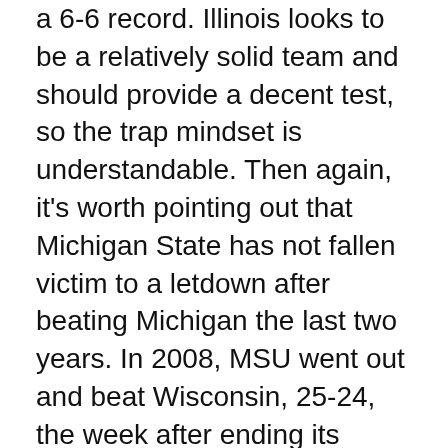a 6-6 record. Illinois looks to be a relatively solid team and should provide a decent test, so the trap mindset is understandable. Then again, it's worth pointing out that Michigan State has not fallen victim to a letdown after beating Michigan the last two years. In 2008, MSU went out and beat Wisconsin, 25-24, the week after ending its losing streak to Michigan. Last year, MSU went on the road and beat Illinois, 24-14, after its overtime victory over Michigan. While it can be tough to stay focused, Mark Dantonio's teams have shown no signs of having letdown games after Michigan week in the past, so that's an encouraging sign going forward, especially since this year's team is so talented.
Saturday's game is a noon kickoff in East Lansing. Big Ten Network has the broadcast.